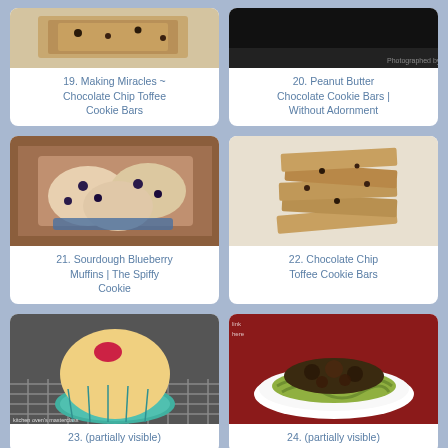[Figure (photo): Food photo of chocolate chip toffee cookie bars on white background]
19. Making Miracles ~ Chocolate Chip Toffee Cookie Bars
[Figure (photo): Food photo of peanut butter chocolate cookie bars]
20. Peanut Butter Chocolate Cookie Bars | Without Adornment
[Figure (photo): Food photo of sourdough blueberry muffins on blue plate on red tablecloth]
21. Sourdough Blueberry Muffins | The Spiffy Cookie
[Figure (photo): Food photo of stacked chocolate chip toffee cookie bars]
22. Chocolate Chip Toffee Cookie Bars
[Figure (photo): Food photo of a muffin with berry on top in colorful cupcake liner on cooling rack]
23. (partially visible)
[Figure (photo): Food photo of meat dish served over green noodles on white plate on red tablecloth]
24. (partially visible)